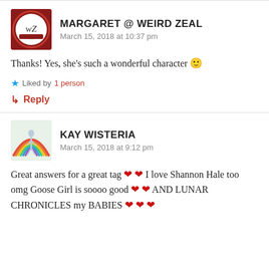MARGARET @ WEIRD ZEAL
March 15, 2018 at 10:37 pm
Thanks! Yes, she's such a wonderful character 🙂
Liked by 1 person
↳ Reply
KAY WISTERIA
March 15, 2018 at 9:12 pm
Great answers for a great tag ❤ ❤ I love Shannon Hale too omg Goose Girl is soooo good ❤ ❤ AND LUNAR CHRONICLES my BABIES ❤ ❤ ❤